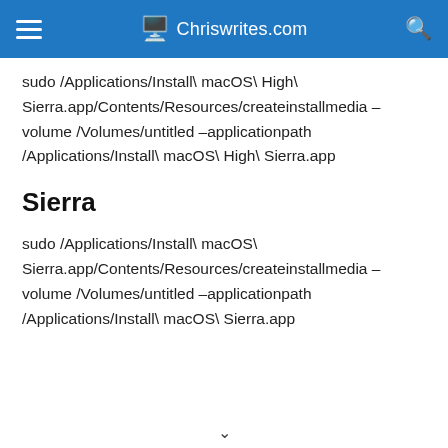Chriswrites.com
sudo /Applications/Install\ macOS\ High\ Sierra.app/Contents/Resources/createinstallmedia –volume /Volumes/untitled –applicationpath /Applications/Install\ macOS\ High\ Sierra.app
Sierra
sudo /Applications/Install\ macOS\ Sierra.app/Contents/Resources/createinstallmedia –volume /Volumes/untitled –applicationpath /Applications/Install\ macOS\ Sierra.app